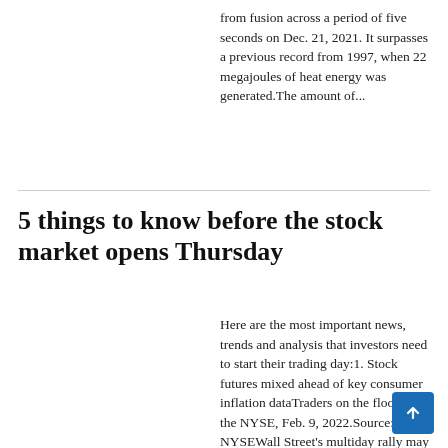from fusion across a period of five seconds on Dec. 21, 2021. It surpasses a previous record from 1997, when 22 megajoules of heat energy was generated.The amount of...
5 things to know before the stock market opens Thursday
Here are the most important news, trends and analysis that investors need to start their trading day:1. Stock futures mixed ahead of key consumer inflation dataTraders on the floor of the NYSE, Feb. 9, 2022.Source: NYSEWall Street's multiday rally may depend on how key inflation data comes in at